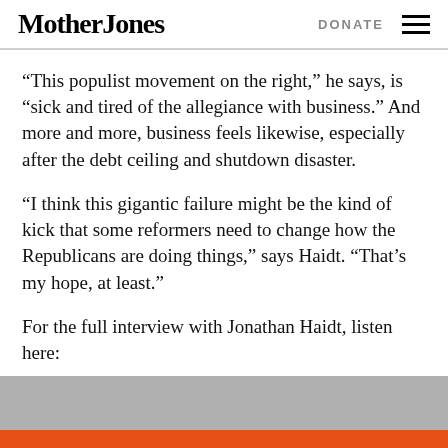Mother Jones  DONATE
“This populist movement on the right,” he says, is “sick and tired of the allegiance with business.” And more and more, business feels likewise, especially after the debt ceiling and shutdown disaster.
“I think this gigantic failure might be the kind of kick that some reformers need to change how the Republicans are doing things,” says Haidt. “That’s my hope, at least.”
For the full interview with Jonathan Haidt, listen here:
[Figure (other): Gray and orange media player placeholder bar at the bottom of the page]